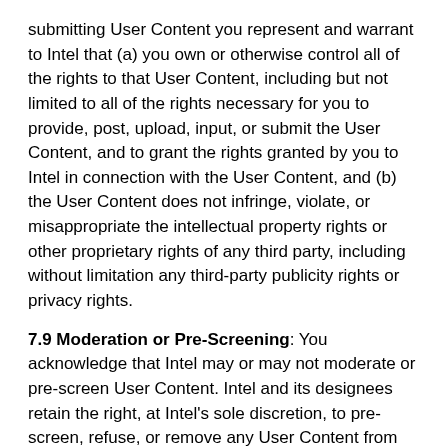submitting User Content you represent and warrant to Intel that (a) you own or otherwise control all of the rights to that User Content, including but not limited to all of the rights necessary for you to provide, post, upload, input, or submit the User Content, and to grant the rights granted by you to Intel in connection with the User Content, and (b) the User Content does not infringe, violate, or misappropriate the intellectual property rights or other proprietary rights of any third party, including without limitation any third-party publicity rights or privacy rights.
7.9 Moderation or Pre-Screening: You acknowledge that Intel may or may not moderate or pre-screen User Content. Intel and its designees retain the right, at Intel's sole discretion, to pre-screen, refuse, or remove any User Content from the Websites or the Materials. Intel, however, will have no liability related to User Content, whether arising under the laws of copyright, libel, privacy, obscenity, or otherwise. Without limiting the foregoing, Intel will have the right to remove any User Content at any time and for any reason in Intel's sole discretion.
7.10 Security of Your Submissions: Because internet